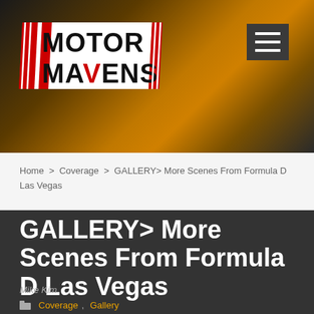[Figure (logo): Motor Mavens logo with red diagonal stripes and white bold text on dark/orange background header]
Home > Coverage > GALLERY> More Scenes From Formula D Las Vegas
GALLERY> More Scenes From Formula D Las Vegas
Mike Kim
Coverage, Gallery